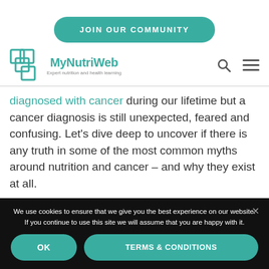[Figure (logo): MyNutriWeb logo with teal grid/squares icon and text 'MyNutriWeb - Expert nutrition and health learning', plus JOIN OUR COMMUNITY button, search and menu icons]
diagnosed with cancer during our lifetime but a cancer diagnosis is still unexpected, feared and confusing. Let's dive deep to uncover if there is any truth in some of the most common myths around nutrition and cancer – and why they exist at all.
We use cookies to ensure that we give you the best experience on our website. If you continue to use this site we will assume that you are happy with it.
OK
TERMS & CONDITIONS